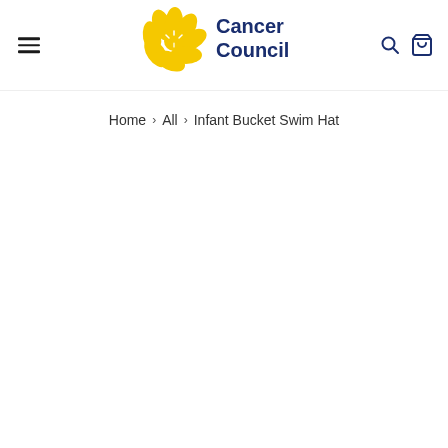[Figure (logo): Cancer Council logo with yellow daffodil flower and dark navy text reading 'Cancer Council']
Home > All > Infant Bucket Swim Hat